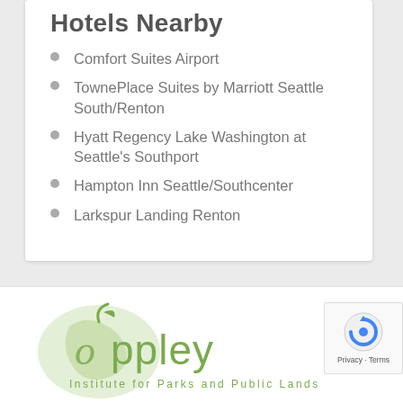Hotels Nearby
Comfort Suites Airport
TownePlace Suites by Marriott Seattle South/Renton
Hyatt Regency Lake Washington at Seattle's Southport
Hampton Inn Seattle/Southcenter
Larkspur Landing Renton
[Figure (logo): Oppley Institute for Parks and Public Lands logo — green leaf/apple graphic with stylized green text 'oppley' and subtitle 'Institute for Parks and Public Lands']